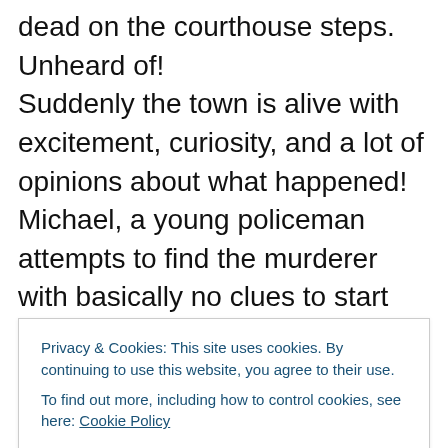dead on the courthouse steps. Unheard of! Suddenly the town is alive with excitement, curiosity, and a lot of opinions about what happened! Michael, a young policeman attempts to find the murderer with basically no clues to start with. He has his work cut out for him, as his investigation also means dealing with the gossip, a newspaper reporter with a flair for inaccurate embellishments, and town characters just being themselves. As he works to find the murderer, secrets about town residents are brought to light. The tragedy brings emotions
Privacy & Cookies: This site uses cookies. By continuing to use this website, you agree to their use. To find out more, including how to control cookies, see here: Cookie Policy
turner! You will be surprised at who the guilty party is! As